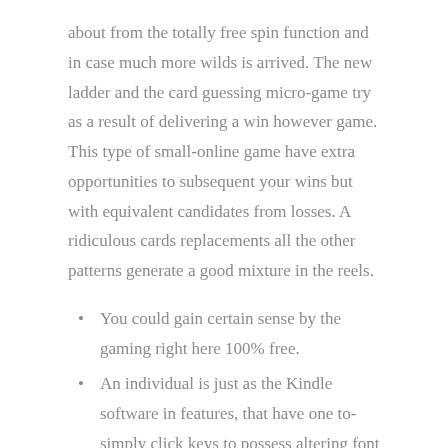about from the totally free spin function and in case much more wilds is arrived. The new ladder and the card guessing micro-game try as a result of delivering a win however game. This type of small-online game have extra opportunities to subsequent your wins but with equivalent candidates from losses. A ridiculous cards replacements all the other patterns generate a good mixture in the reels.
You could gain certain sense by the gaming right here 100% free.
An individual is just as the Kindle software in features, that have one to-simply click keys to possess altering font size, colour theme , and you